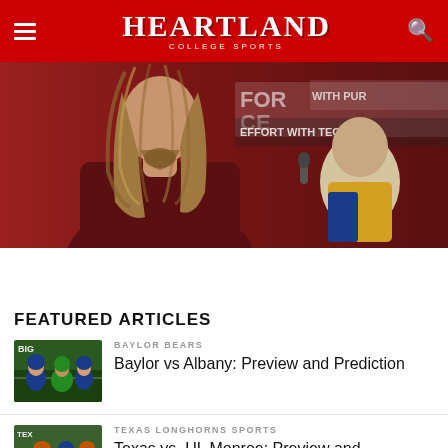HEARTLAND COLLEGE SPORTS
[Figure (photo): A football player with long hair wearing a dark red jersey being interviewed, with a banner in the background reading 'EFFORT WITH TECHN...' and 'WITH PUR...']
FEATURED ARTICLES
[Figure (photo): Thumbnail photo of a Baylor Bears football game]
BAYLOR BEARS
Baylor vs Albany: Preview and Prediction
[Figure (photo): Thumbnail photo of a Texas Longhorns football game]
TEXAS LONGHORNS SPORTS
Texas vs. UL Monroe: Preview and